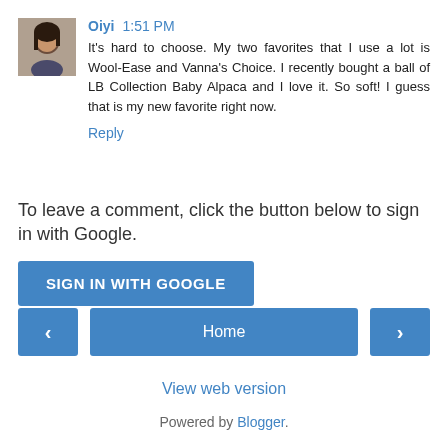[Figure (photo): User avatar/profile photo of Oiyi — a woman with dark hair]
Oiyi 1:51 PM
It's hard to choose. My two favorites that I use a lot is Wool-Ease and Vanna's Choice. I recently bought a ball of LB Collection Baby Alpaca and I love it. So soft! I guess that is my new favorite right now.
Reply
To leave a comment, click the button below to sign in with Google.
SIGN IN WITH GOOGLE
‹
Home
›
View web version
Powered by Blogger.